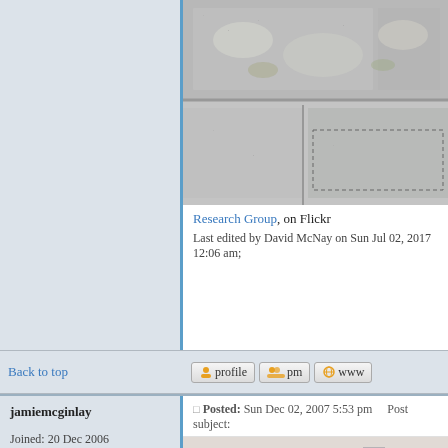[Figure (photo): Close-up photograph of stone masonry wall showing large granite-like stone blocks with lichen and moss growth, with a dashed rectangular outline marking a region of interest]
Research Group, on Flickr
Last edited by David McNay on Sun Jul 02, 2017 12:06 am;
Back to top
profile  pm  www
jamiemcginlay
Posted: Sun Dec 02, 2007 5:53 pm    Post subject:
Joined: 20 Dec 2006
Posts: 930
Location: Glasgow
[Figure (photo): Misty/foggy photograph of a building rooftop with slate tiles, showing a chimney or structure in the background through hazy conditions]